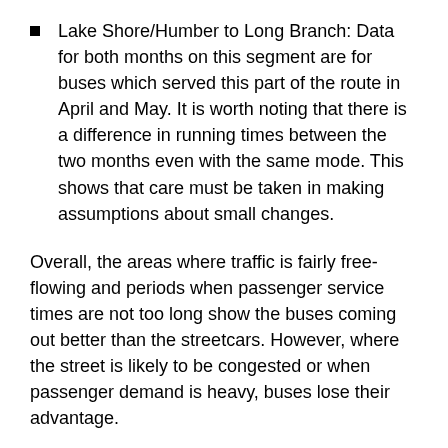Lake Shore/Humber to Long Branch: Data for both months on this segment are for buses which served this part of the route in April and May. It is worth noting that there is a difference in running times between the two months even with the same mode. This shows that care must be taken in making assumptions about small changes.
Overall, the areas where traffic is fairly free-flowing and periods when passenger service times are not too long show the buses coming out better than the streetcars. However, where the street is likely to be congested or when passenger demand is heavy, buses lose their advantage.
Another possible factor, and this from personal observation riding buses on Queen, is that bus operators